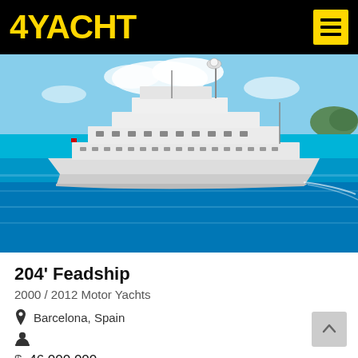4YACHT
[Figure (photo): Large white motor yacht sailing on turquoise blue water under a partly cloudy sky. The yacht is multi-deck with multiple levels of superstructure, communications masts, and is photographed from the port side.]
204' Feadship
2000 / 2012 Motor Yachts
Barcelona, Spain
$ 46,000,000